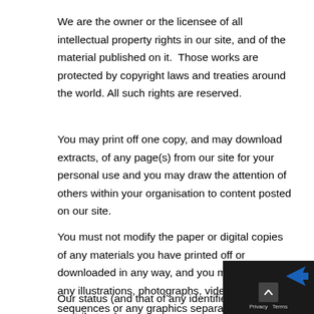We are the owner or the licensee of all intellectual property rights in our site, and of the material published on it.  Those works are protected by copyright laws and treaties around the world. All such rights are reserved.
You may print off one copy, and may download extracts, of any page(s) from our site for your personal use and you may draw the attention of others within your organisation to content posted on our site.
You must not modify the paper or digital copies of any materials you have printed off or downloaded in any way, and you must not use any illustrations, photographs, video or audio sequences or any graphics separately from any accompanying text.
Our status (and that of any identified contributors) a...